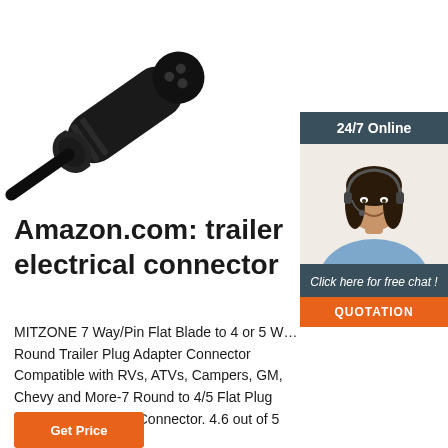[Figure (photo): Black trailer electrical connector/plug adapter shown at an angle against white background]
[Figure (photo): Customer service agent woman with headset smiling, with '24/7 Online' header, 'Click here for free chat!' text and 'QUOTATION' orange button]
Amazon.com: trailer electrical connector
MITZONE 7 Way/Pin Flat Blade to 4 or 5 Way Round Trailer Plug Adapter Connector Compatible with RVs, ATVs, Campers, GM, Chevy and More-7 Round to 4/5 Flat Plug Light End Electrical Connector. 4.6 out of 5 stars. 28. $8.95.